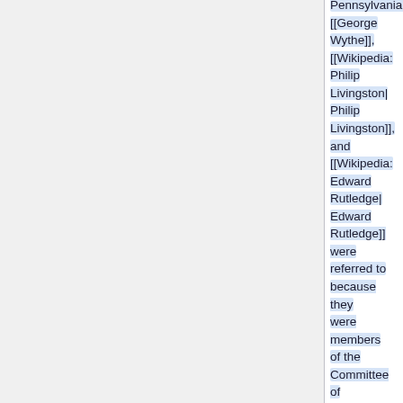Pennsylvania| [[George Wythe]], [[Wikipedia:Philip Livingston|Philip Livingston]], and [[Wikipedia:Edward Rutledge|Edward Rutledge]] were referred to because they were members of the Committee of Indian Affairs<ref>Journals of the Continental Congress, 1774-1789, Volume 6